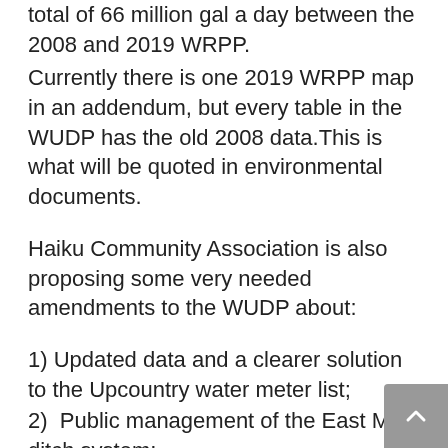total of 66 million gal a day between the 2008 and 2019 WRPP.
Currently there is one 2019 WRPP map in an addendum, but every table in the WUDP has the old 2008 data.This is what will be quoted in environmental documents.
Haiku Community Association is also proposing some very needed amendments to the WUDP about:
1) Updated data and a clearer solution to the Upcountry water meter list;
2)  Public management of the East Maui ditch system;
3) True costs of the proposed Ha’iku wells, and who will foot the bill if local wells and springs are dried up: